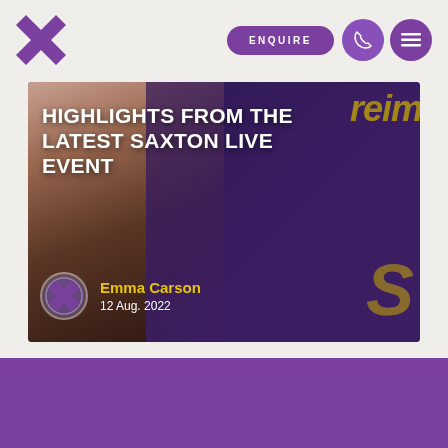ENQUIRE
[Figure (screenshot): Hero image showing a smiling person in foreground with purple/dark background overlay. Yellow text 'Reim' and 'S' visible on right side. Overlaid with article title and author info.]
HIGHLIGHTS FROM THE LATEST SAXTON LIVE EVENT
Emma Carson
12 Aug. 2022